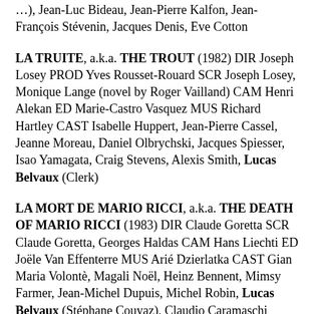…), Jean-Luc Bideau, Jean-Pierre Kalfon, Jean-François Stévenin, Jacques Denis, Eve Cotton
LA TRUITE, a.k.a. THE TROUT (1982) DIR Joseph Losey PROD Yves Rousset-Rouard SCR Joseph Losey, Monique Lange (novel by Roger Vailland) CAM Henri Alekan ED Marie-Castro Vasquez MUS Richard Hartley CAST Isabelle Huppert, Jean-Pierre Cassel, Jeanne Moreau, Daniel Olbrychski, Jacques Spiesser, Isao Yamagata, Craig Stevens, Alexis Smith, Lucas Belvaux (Clerk)
LA MORT DE MARIO RICCI, a.k.a. THE DEATH OF MARIO RICCI (1983) DIR Claude Goretta SCR Claude Goretta, Georges Haldas CAM Hans Liechti ED Joële Van Effenterre MUS Arié Dzierlatka CAST Gian Maria Volontè, Magali Noël, Heinz Bennent, Mimsy Farmer, Jean-Michel Dupuis, Michel Robin, Lucas Belvaux (Stéphane Couyaz), Claudio Caramaschi